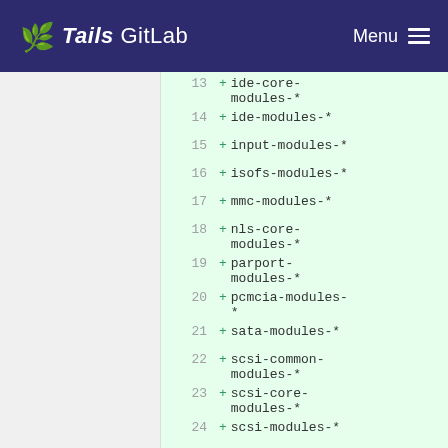Tails GitLab — Menu
13 + ide-core-modules-*
14 + ide-modules-*
15 + input-modules-*
16 + isofs-modules-*
17 + mmc-modules-*
18 + nls-core-modules-*
19 + parport-modules-*
20 + pcmcia-modules-*
21 + sata-modules-*
22 + scsi-common-modules-*
23 + scsi-core-modules-*
24 + scsi-modules-*
25 + serial-modules-*